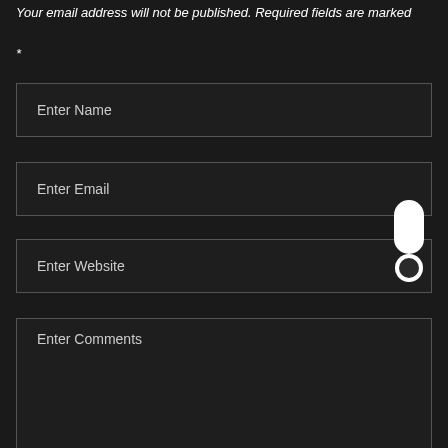Your email address will not be published. Required fields are marked *
Enter Name
Enter Email
Enter Website
Enter Comments